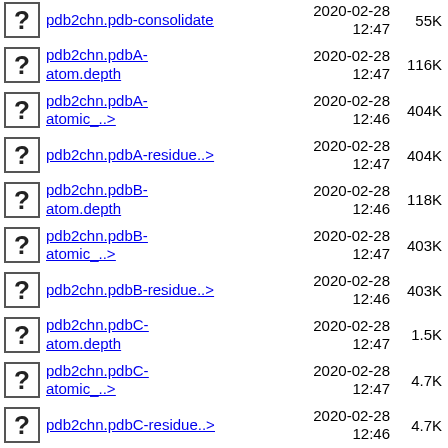pdb2chn.pdb-consolidate  2020-02-28 12:47  55K
pdb2chn.pdbA-atom.depth  2020-02-28 12:47  116K
pdb2chn.pdbA-atomic_..>  2020-02-28 12:46  404K
pdb2chn.pdbA-residue..>  2020-02-28 12:47  404K
pdb2chn.pdbB-atom.depth  2020-02-28 12:46  118K
pdb2chn.pdbB-atomic_..>  2020-02-28 12:47  403K
pdb2chn.pdbB-residue..>  2020-02-28 12:46  403K
pdb2chn.pdbC-atom.depth  2020-02-28 12:47  1.5K
pdb2chn.pdbC-atomic_..>  2020-02-28 12:47  4.7K
pdb2chn.pdbC-residue..>  2020-02-28 12:46  4.7K
pdb2chn.pdbD-atom.depth  2020-02-28 12:47  1.4K
pdb2chn.pdbD-atomic_..>  2020-02-28 12:47  4.7K